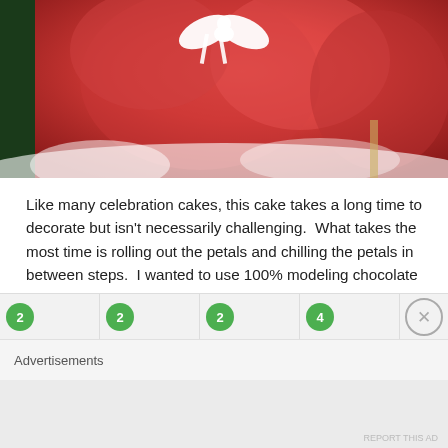[Figure (photo): A red/pink celebration cake with white ribbon bow and white cream/frosting decoration]
Like many celebration cakes, this cake takes a long time to decorate but isn't necessarily challenging.  What takes the most time is rolling out the petals and chilling the petals in between steps.  I wanted to use 100% modeling chocolate for the cake, but something went wrong during the process and I had to add about 30% fondant to make it useable.  Do not fight the weather, as soon as your modeling chocolate/fondant starts to lose its shape, stop and chill it in the freezer.  This will save you a lot of frustration and heartache down the line.
Advertisements